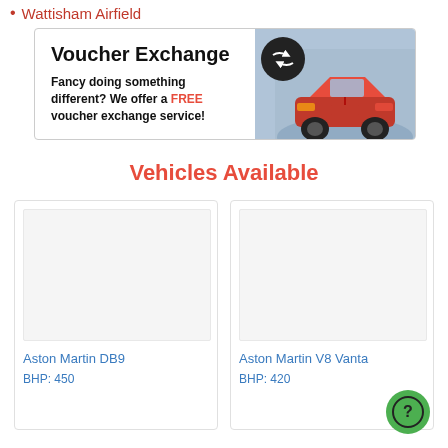Wattisham Airfield
[Figure (infographic): Voucher Exchange banner with bold heading 'Voucher Exchange', subtitle 'Fancy doing something different? We offer a FREE voucher exchange service!', a black circular exchange icon, and photo of a red sports car on a track.]
Vehicles Available
[Figure (illustration): Vehicle card for Aston Martin DB9, showing placeholder image area, car name in blue, BHP: 450]
[Figure (illustration): Vehicle card for Aston Martin V8 Vantage, showing placeholder image area, car name in blue, BHP: 420]